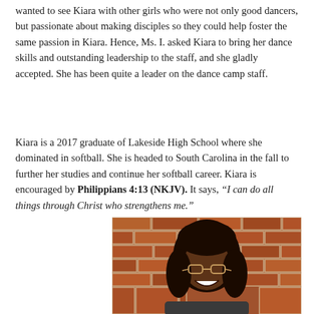wanted to see Kiara with other girls who were not only good dancers, but passionate about making disciples so they could help foster the same passion in Kiara. Hence, Ms. I. asked Kiara to bring her dance skills and outstanding leadership to the staff, and she gladly accepted. She has been quite a leader on the dance camp staff.
Kiara is a 2017 graduate of Lakeside High School where she dominated in softball. She is headed to South Carolina in the fall to further her studies and continue her softball career. Kiara is encouraged by Philippians 4:13 (NKJV). It says, “I can do all things through Christ who strengthens me.”
[Figure (photo): Portrait photo of a young woman with long dark hair and glasses, smiling broadly in front of a red brick wall background.]